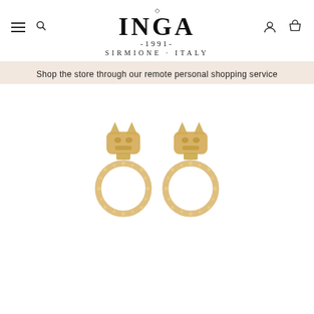INGA -1991- SIRMIONE · ITALY
Shop the store through our remote personal shopping service
[Figure (photo): Two gold panther head earrings with diamond-encrusted circular hoops hanging below, displayed on white background]